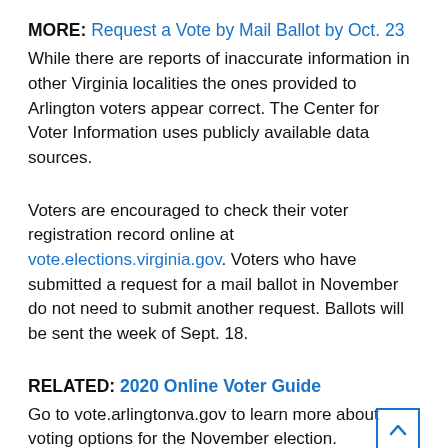MORE: Request a Vote by Mail Ballot by Oct. 23
While there are reports of inaccurate information in other Virginia localities the ones provided to Arlington voters appear correct. The Center for Voter Information uses publicly available data sources.
Voters are encouraged to check their voter registration record online at vote.elections.virginia.gov. Voters who have submitted a request for a mail ballot in November do not need to submit another request. Ballots will be sent the week of Sept. 18.
RELATED: 2020 Online Voter Guide
Go to vote.arlingtonva.gov to learn more about voting options for the November election.